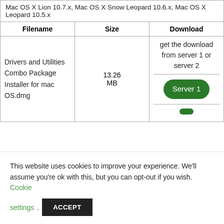| Filename | Size | Download |
| --- | --- | --- |
| Mac OS X Lion 10.7.x, Mac OS X Snow Leopard 10.6.x, Mac OS X Leopard 10.5.x |  |  |
| Drivers and Utilities Combo Package Installer for mac OS.dmg | 13.26 MB | get the download from server 1 or server 2 / Server 1 |
This website uses cookies to improve your experience. We'll assume you're ok with this, but you can opt-out if you wish. Cookie settings . ACCEPT